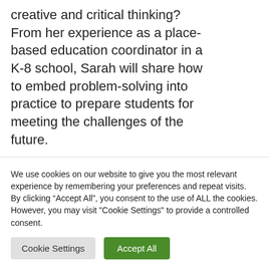creative and critical thinking? From her experience as a place-based education coordinator in a K-8 school, Sarah will share how to embed problem-solving into practice to prepare students for meeting the challenges of the future.
Our program features a
We use cookies on our website to give you the most relevant experience by remembering your preferences and repeat visits. By clicking “Accept All”, you consent to the use of ALL the cookies. However, you may visit "Cookie Settings" to provide a controlled consent.